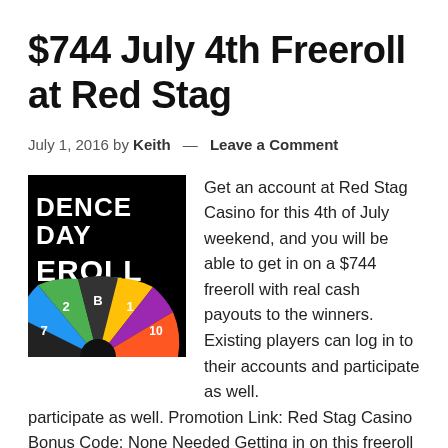$744 July 4th Freeroll at Red Stag
July 1, 2016 by Keith — Leave a Comment
[Figure (photo): Promotional image for Independence Day Freeroll at Red Stag Casino, showing text 'DENCE DAY' and 'EROLL' on black background with a colorful spinning wheel at the bottom with segments showing numbers 7, 2, B, 1, 10.]
Get an account at Red Stag Casino for this 4th of July weekend, and you will be able to get in on a $744 freeroll with real cash payouts to the winners. Existing players can log in to their accounts and participate as well. Promotion Link: Red Stag Casino Bonus Code: None Needed Getting in on this freeroll is really simple. Create an account at Red Stag after you …